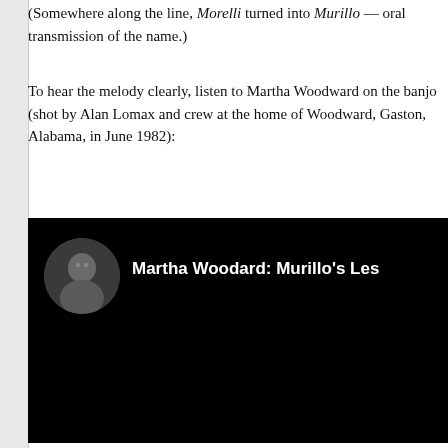(Somewhere along the line, Morelli turned into Murillo — oral transmission of the name.)
To hear the melody clearly, listen to Martha Woodward on the banjo (shot by Alan Lomax and crew at the home of Woodward, Gaston, Alabama, in June 1982):
[Figure (screenshot): Video embed with black background showing title 'Martha Woodward: Murillo's Les' with a circular profile photo thumbnail on the left]
Then a video of singing “down south”, at Mount Pisga in Stroud AL:
[Figure (screenshot): Partial second video embed with dark background showing a person and some outdoor scenery]